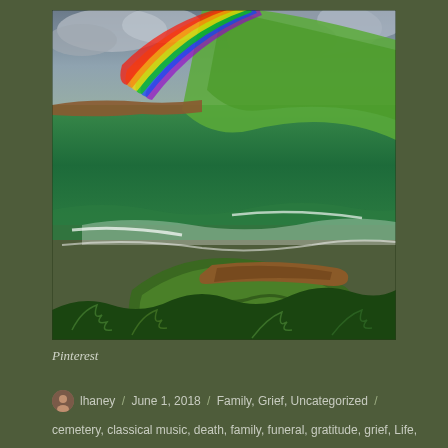[Figure (photo): Dramatic landscape photograph showing a vivid rainbow arching over a green coastal scene with crashing waves, a mossy rocky outcrop with a large driftwood log, and stormy sky in the background.]
Pinterest
lhaney / June 1, 2018 / Family, Grief, Uncategorized /
cemetery, classical music, death, family, funeral, gratitude, grief, Life,